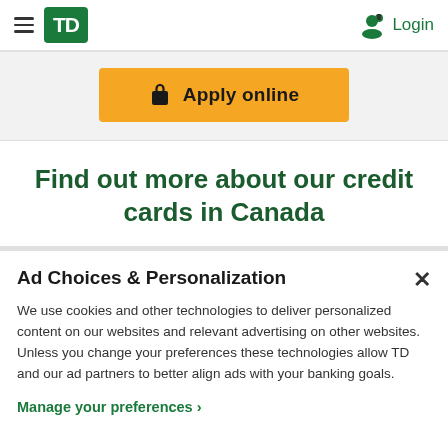TD Bank — Navigation header with hamburger menu, TD logo, and Login
[Figure (screenshot): TD logo green square with white 'TD' text]
Apply online
Find out more about our credit cards in Canada
Ad Choices & Personalization
We use cookies and other technologies to deliver personalized content on our websites and relevant advertising on other websites. Unless you change your preferences these technologies allow TD and our ad partners to better align ads with your banking goals.
Manage your preferences ›